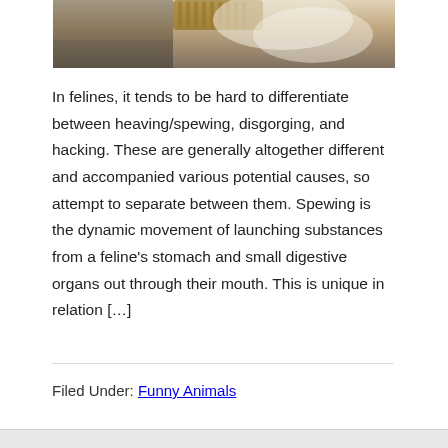[Figure (photo): Partial photo of a cat near a wooden brush or comb, cropped to show only the top portion of the image.]
In felines, it tends to be hard to differentiate between heaving/spewing, disgorging, and hacking. These are generally altogether different and accompanied various potential causes, so attempt to separate between them. Spewing is the dynamic movement of launching substances from a feline’s stomach and small digestive organs out through their mouth. This is unique in relation […]
Filed Under: Funny Animals